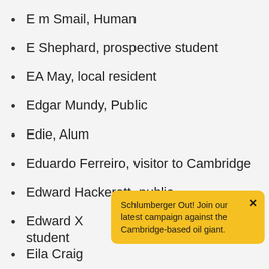E m Smail, Human
E Shephard, prospective student
EA May, local resident
Edgar Mundy, Public
Edie, Alum
Eduardo Ferreiro, visitor to Cambridge
Edward Hackerott, public
Edward X[...], student
Eila Craig...
Schlumberger Out! Join our latest campaign against the Cambridge-based oil giant.